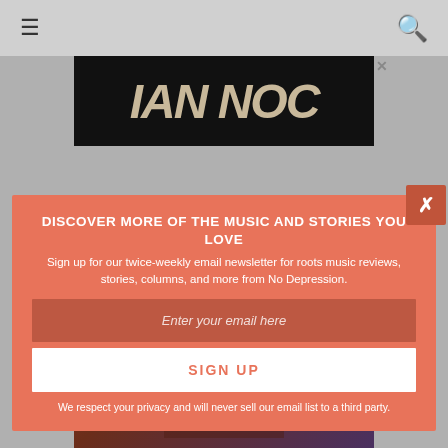≡  🔍
[Figure (screenshot): Ad banner with text 'IAN NOC' in large tan letters on black background with X close button]
[Figure (screenshot): Album cover with 'MISSISSIPPI SON' text in gold and a musician playing guitar]
DISCOVER MORE OF THE MUSIC AND STORIES YOU LOVE
Sign up for our twice-weekly email newsletter for roots music reviews, stories, columns, and more from No Depression.
Enter your email here
SIGN UP
We respect your privacy and will never sell our email list to a third party.